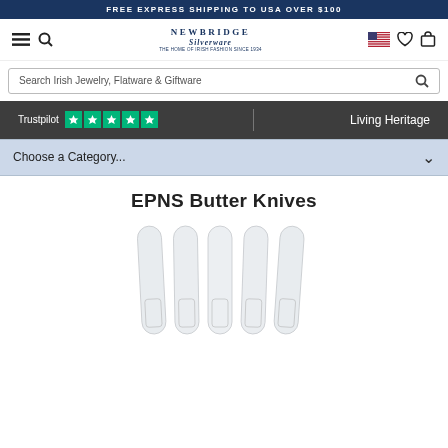FREE EXPRESS SHIPPING TO USA OVER $100
[Figure (screenshot): Newbridge Silverware navigation bar with hamburger menu, search icon, logo, US flag icon, heart/wishlist icon, and bag/cart icon]
Search Irish Jewelry, Flatware & Giftware
Trustpilot ★★★★★   |   Living Heritage
Choose a Category...
EPNS Butter Knives
[Figure (photo): Five EPNS silver butter knives arranged in a fan-like spread, showing silver blades with engraved Newbridge branding]